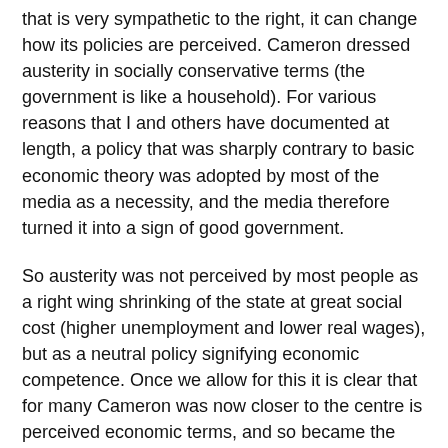that is very sympathetic to the right, it can change how its policies are perceived. Cameron dressed austerity in socially conservative terms (the government is like a household). For various reasons that I and others have documented at length, a policy that was sharply contrary to basic economic theory was adopted by most of the media as a necessity, and the media therefore turned it into a sign of good government.
So austerity was not perceived by most people as a right wing shrinking of the state at great social cost (higher unemployment and lower real wages), but as a neutral policy signifying economic competence. Once we allow for this it is clear that for many Cameron was now closer to the centre is perceived economic terms, and so became the government in 2010.
Austerity was so successful that Labour eventually concluded they would have to accept it to some extent. Miliband not only moved nearer the centre in economic